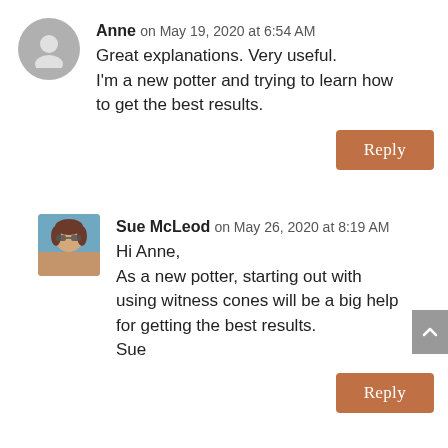Anne on May 19, 2020 at 6:54 AM
Great explanations. Very useful.
I'm a new potter and trying to learn how to get the best results.
Reply
[Figure (photo): Profile photo of Sue McLeod - woman with sunglasses outdoors]
Sue McLeod on May 26, 2020 at 8:19 AM
Hi Anne,
As a new potter, starting out with using witness cones will be a big help for getting the best results.
Sue
Reply